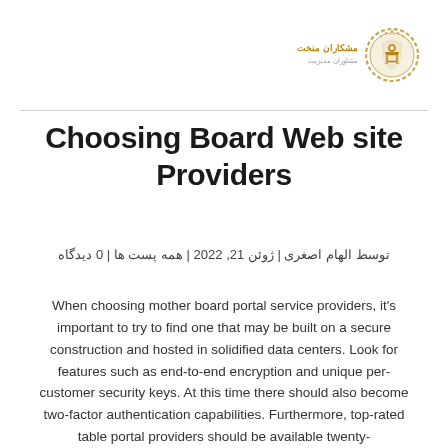[Figure (logo): Circular gold logo with shield/crown emblem and Persian text 'مشکاران منخت' in the center-right area]
Choosing Board Web site Providers
توسط الهام اصغری | ژوئن 21, 2022 | همه پست ها | 0 دیدگاه
When choosing mother board portal service providers, it's important to try to find one that may be built on a secure construction and hosted in solidified data centers. Look for features such as end-to-end encryption and unique per-customer security keys. At this time there should also become two-factor authentication capabilities. Furthermore, top-rated table portal providers should be available twenty-